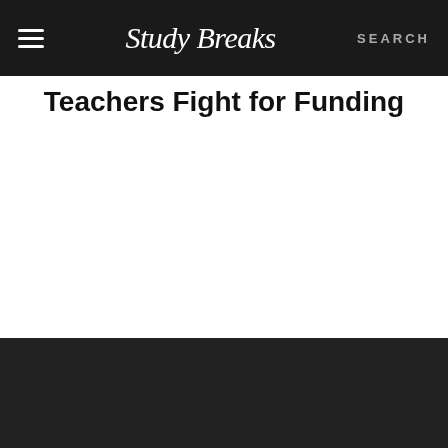Study Breaks — SEARCH
Teachers Fight for Funding
[Figure (illustration): BitLife advertisement banner with sperm mascot, yellow text 'BITLIFE NOW WITH GOD MODE', pointing hand illustration, on light blue background, with close buttons in top right corner.]